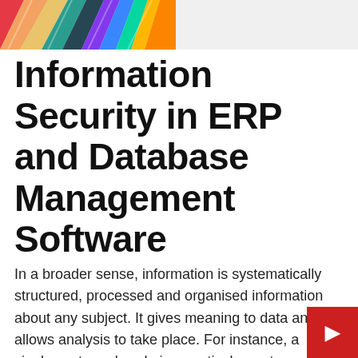[Figure (illustration): Colorful abstract ribbon/banner image in the top-left corner against a light grey background]
Information Security in ERP and Database Management Software
In a broader sense, information is systematically structured, processed and organised information about any subject. It gives meaning to data and allows analysis to take place. For instance, a single customer's sale in a particular restaurant is statistical information this becomes information when the company is able to identify which dishes